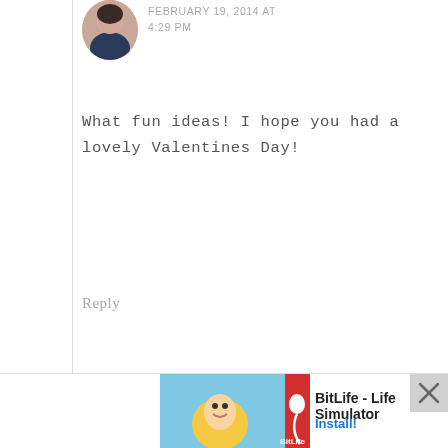[Figure (photo): Circular avatar photo of a woman with dark hair, partially visible at top]
FEBRUARY 19, 2014 AT 4:29 PM
What fun ideas! I hope you had a lovely Valentines Day!
Reply
[Figure (photo): Circular avatar photo of Wendy Bottrell, a woman with short grey hair]
WENDY BOTTRELL says FEBRUARY 19, 2014 AT 12:24 PM
Great ideas and tips! Thanks for sharing.
[Figure (screenshot): Ad banner for BitLife - Life Simulator app with Install button and X close button]